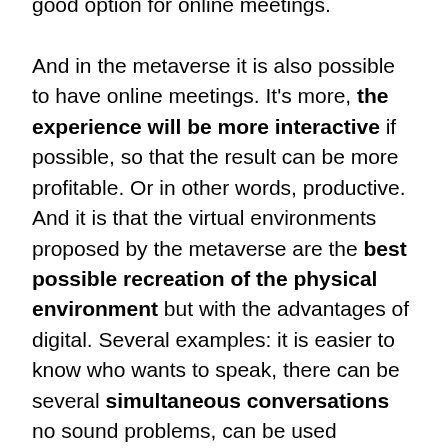good option for online meetings. And in the metaverse it is also possible to have online meetings. It's more, the experience will be more interactive if possible, so that the result can be more profitable. Or in other words, productive. And it is that the virtual environments proposed by the metaverse are the best possible recreation of the physical environment but with the advantages of digital. Several examples: it is easier to know who wants to speak, there can be several simultaneous conversations no sound problems, can be used graphic and virtual resources that in a Zoom call only the organizer can control... And what about aspects such as